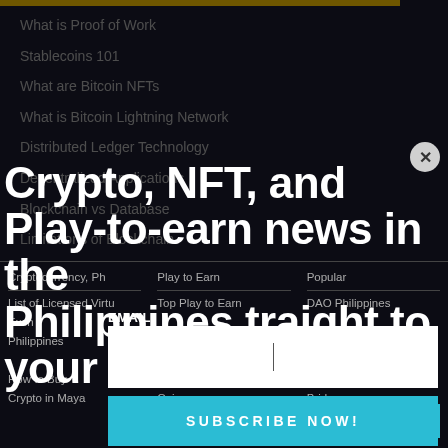What is Proof of Work
Stablecoins 101
What are Bitcoin NFTs
What is Bitcoin Lightning Network
Distributed Ledger Technology
Decentralized Applications
Blockchain vs Database
Limitations of Blockchain
Crypto, NFT, and Play-to-earn news in the Philippines.traight to your inbox!
EMAIL
SUBSCRIBE NOW!
Cryptocurrency Philippines
Play to Earn Philippines
Popular
List of Licensed Virtual Currency Exchanges Philippines
Top Play to Earn
DAO Philippines
Top Play to Earn Coins
What are Crypto Bridges
How to Buy Crypto in Maya
How to Cash Out
Initial Exchange